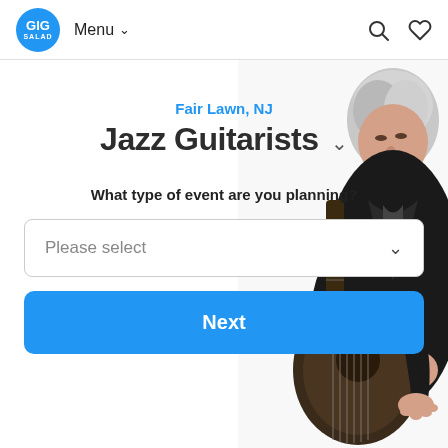[Figure (logo): GigSalad circular blue logo with white text]
Menu ▾
[Figure (photo): Man with grey hair playing a jazz guitar, wearing a black jacket, photographed from mid-torso up]
Fair Lawn, NJ
Jazz Guitarists ˅
What type of event are you planning?
Please select
Next